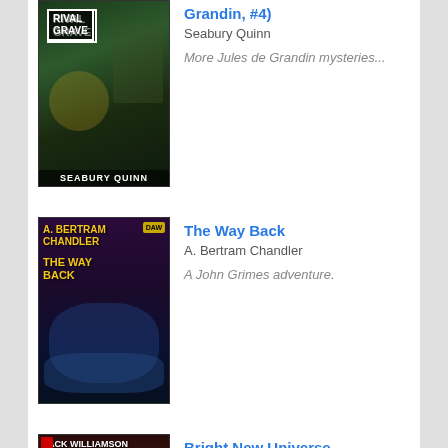[Figure (illustration): Book cover for a Jules de Grandin mystery by Seabury Quinn, showing 'Rival Grave' with dark gothic imagery]
Grandin, #4)
Seabury Quinn
More Jules de Grandin mysteries...
[Figure (illustration): Book cover for 'The Way Back' by A. Bertram Chandler, dark science fiction cover with yellow title text]
The Way Back
A. Bertram Chandler
A John Grimes adventure.
[Figure (illustration): Book cover for 'Bright New Universe' by Jack Williamson, partially visible at bottom]
Bright New Universe
Jack Williamson